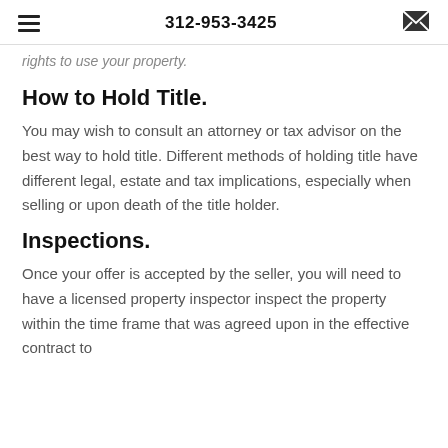312-953-3425
rights to use your property.
How to Hold Title.
You may wish to consult an attorney or tax advisor on the best way to hold title. Different methods of holding title have different legal, estate and tax implications, especially when selling or upon death of the title holder.
Inspections.
Once your offer is accepted by the seller, you will need to have a licensed property inspector inspect the property within the time frame that was agreed upon in the effective contract to